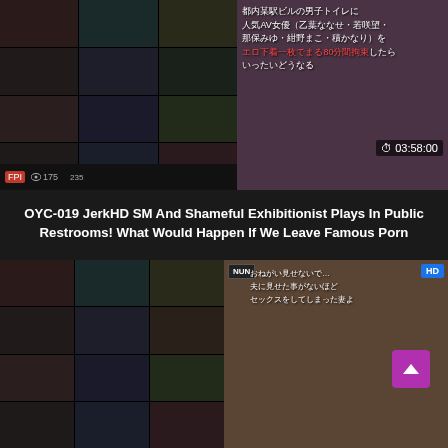[Figure (screenshot): Video thumbnail for OYC-019 showing Japanese adult video cover with grid of scenes on left and main cover image on right, with view count 175 and duration 03:58:00]
OYC-019 JerkHD SM And Shameful Exhibitionist Plays In Public Restrooms! What Would Happen If We Leave Famous Porn
[Figure (screenshot): Second video thumbnail showing Japanese adult video cover (NUN label) with grid of scenes on left and main cover woman image on right, HD badge visible, with scroll-to-top purple button]